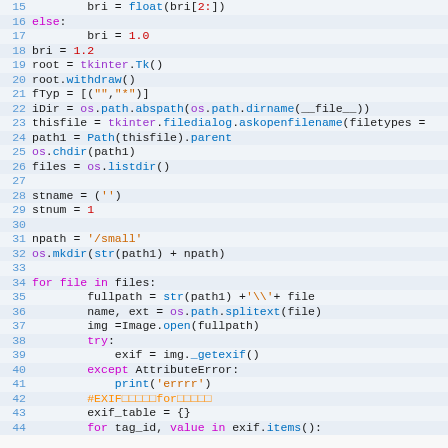Python source code snippet, lines 15-44, showing file handling and image processing code